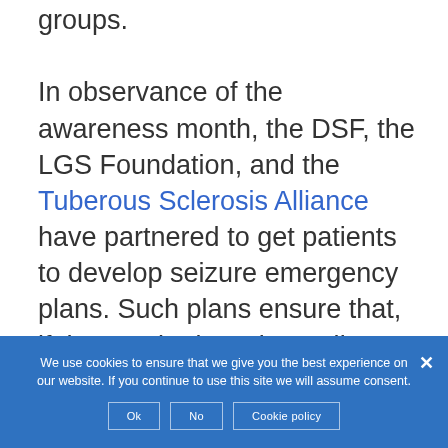groups. In observance of the awareness month, the DSF, the LGS Foundation, and the Tuberous Sclerosis Alliance have partnered to get patients to develop seizure emergency plans. Such plans ensure that, if the need arises, immediate and appropriate action is taken to aid patients.
The Seizure Action Plan Coalition will
We use cookies to ensure that we give you the best experience on our website. If you continue to use this site we will assume consent.